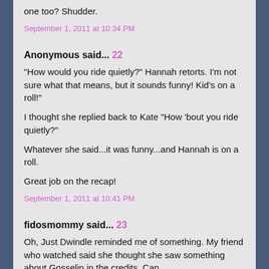one too? Shudder.
September 1, 2011 at 10:34 PM
Anonymous said... 22
"How would you ride quietly?" Hannah retorts. I'm not sure what that means, but it sounds funny! Kid's on a roll!"
I thought she replied back to Kate "How 'bout you ride quietly?"
Whatever she said...it was funny...and Hannah is on a roll.
Great job on the recap!
September 1, 2011 at 10:41 PM
fidosmommy said... 23
Oh, Just Dwindle reminded me of something. My friend who watched said she thought she saw something about Gosselin in the credits. Can